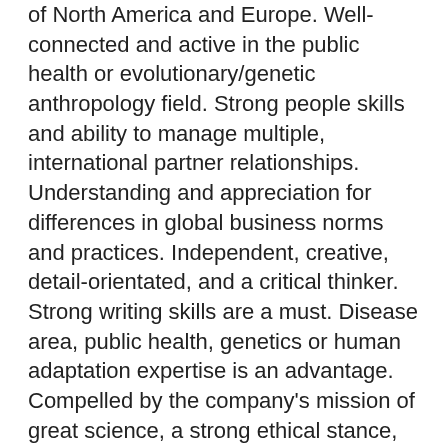of North America and Europe. Well-connected and active in the public health or evolutionary/genetic anthropology field. Strong people skills and ability to manage multiple, international partner relationships. Understanding and appreciation for differences in global business norms and practices. Independent, creative, detail-orientated, and a critical thinker. Strong writing skills are a must. Disease area, public health, genetics or human adaptation expertise is an advantage. Compelled by the company's mission of great science, a strong ethical stance, and benefit sharing.
Perks
Opportunity to be part of an early-stage startup entering a rapid growth phase. Competitive, industry leading salary, and